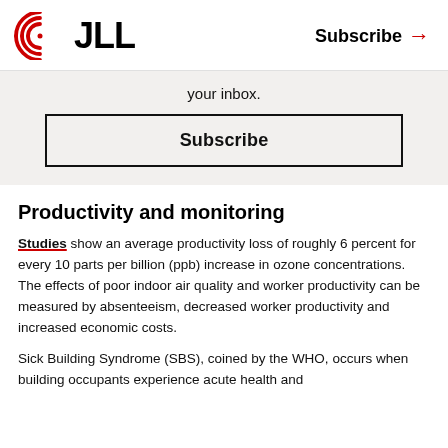JLL | Subscribe →
your inbox.
Subscribe
Productivity and monitoring
Studies show an average productivity loss of roughly 6 percent for every 10 parts per billion (ppb) increase in ozone concentrations. The effects of poor indoor air quality and worker productivity can be measured by absenteeism, decreased worker productivity and increased economic costs.
Sick Building Syndrome (SBS), coined by the WHO, occurs when building occupants experience acute health and